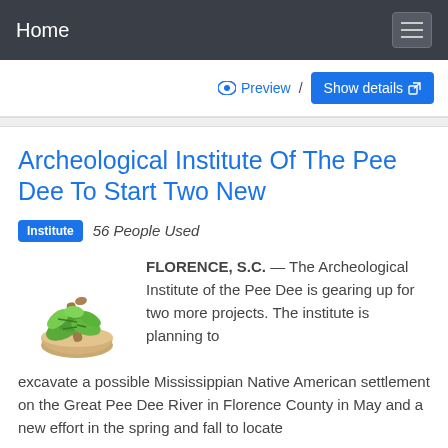Home
Preview / Show details
Archeological Institute Of The Pee Dee To Start Two New
Institute  56 People Used
[Figure (photo): Herbs and mortar and pestle — green leaves with a wooden mortar bowl]
FLORENCE, S.C. — The Archeological Institute of the Pee Dee is gearing up for two more projects. The institute is planning to excavate a possible Mississippian Native American settlement on the Great Pee Dee River in Florence County in May and a new effort in the spring and fall to locate